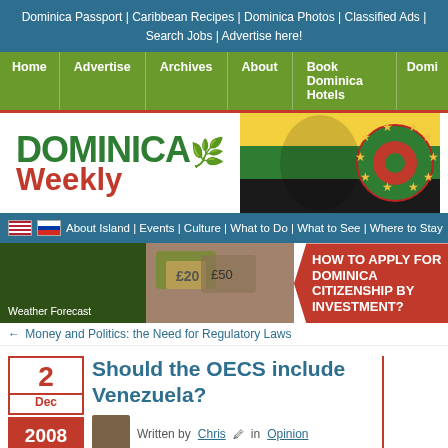Dominica Passport | Caribbean Recipes | Dominica Photos | Classified Ads | Search Jobs | Advertise here!
Home | Advertise | Archives | About | Book Dominica Hotels | Domi
[Figure (logo): Dominica Weekly logo with green leaf icon and flag imagery on right]
About Island | Events | Culture | What to Do | What to See | Where to Stay
[Figure (infographic): Ad banner: HOW TO APPLY FOR DOMINICA CITIZENSHIP BY INVESTMENT? with money images and green/red background]
Weather Forecast
← Money and Politics: the Need for Regulatory Laws
Should the OECS include Venezuela?
Written by Chris in Opinion
There is an ongoing discussion over at BBC Caribbean on whether or not the OECS should in Venezuela to be Come from Caribb